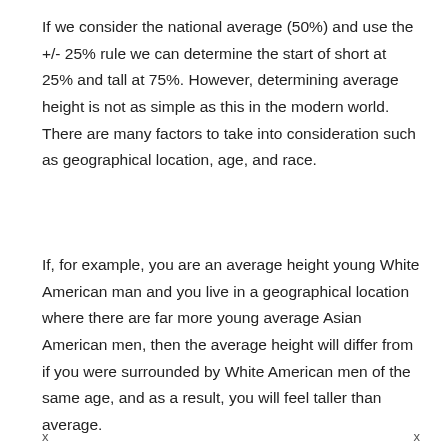If we consider the national average (50%) and use the +/- 25% rule we can determine the start of short at 25% and tall at 75%. However, determining average height is not as simple as this in the modern world. There are many factors to take into consideration such as geographical location, age, and race.
If, for example, you are an average height young White American man and you live in a geographical location where there are far more young average Asian American men, then the average height will differ from if you were surrounded by White American men of the same age, and as a result, you will feel taller than average.
x    x